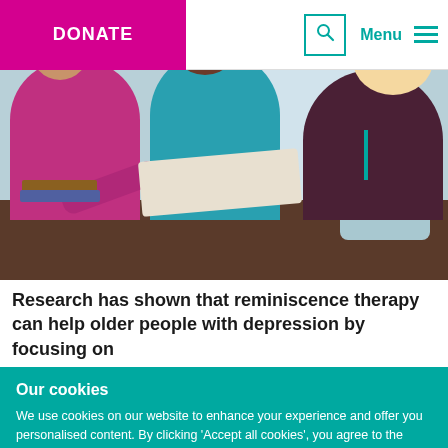DONATE | Menu
[Figure (photo): Three women sitting at a table looking at an open book or photo album together. The woman on the left wears a pink/magenta top, the woman in the center wears a teal top and glasses, and the woman on the right has blonde hair and wears a floral top.]
Research has shown that reminiscence therapy can help older people with depression by focusing on
Our cookies
We use cookies on our website to enhance your experience and offer you personalised content. By clicking 'Accept all cookies', you agree to the storing of cookies on your device to enhance site navigation, analyse site